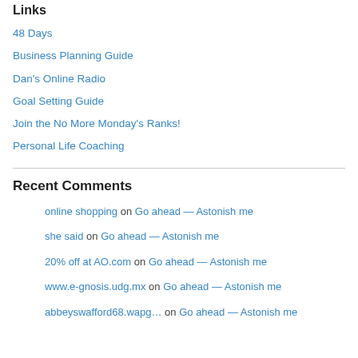Links
48 Days
Business Planning Guide
Dan's Online Radio
Goal Setting Guide
Join the No More Monday's Ranks!
Personal Life Coaching
Recent Comments
online shopping on Go ahead — Astonish me
she said on Go ahead — Astonish me
20% off at AO.com on Go ahead — Astonish me
www.e-gnosis.udg.mx on Go ahead — Astonish me
abbeyswafford68.wang… on Go ahead — Astonish me